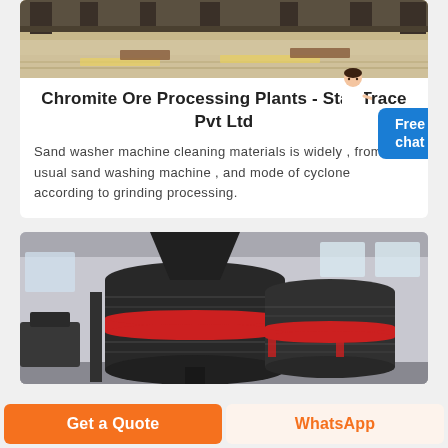[Figure (photo): Partial view of industrial steel structure / warehouse floor with yellow-painted equipment, viewed from above at an angle]
Chromite Ore Processing Plants - Star Trace Pvt Ltd
Sand washer machine cleaning materials is widely , from the usual sand washing machine , and mode of cyclone according to grinding processing.
[Figure (photo): Industrial milling/grinding machines with large black cylindrical bodies and red band accents inside a factory building]
Get a Quote
WhatsApp